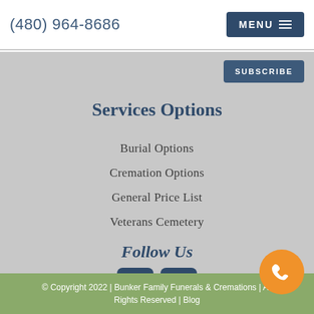(480) 964-8686
MENU
SUBSCRIBE
Services Options
Burial Options
Cremation Options
General Price List
Veterans Cemetery
Follow Us
[Figure (illustration): Facebook and Twitter social media icons, dark blue square rounded buttons]
© Copyright 2022 | Bunker Family Funerals & Cremations | All Rights Reserved | Blog